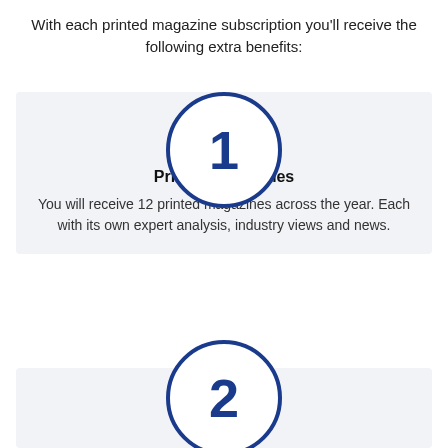With each printed magazine subscription you'll receive the following extra benefits:
[Figure (infographic): Circle with number 1 in dark blue outline on white background, representing step 1]
Printed Magazines
You will receive 12 printed magazines across the year. Each with its own expert analysis, industry views and news.
[Figure (infographic): Circle with number 2 in dark blue outline on white background, representing step 2, partially visible at bottom]